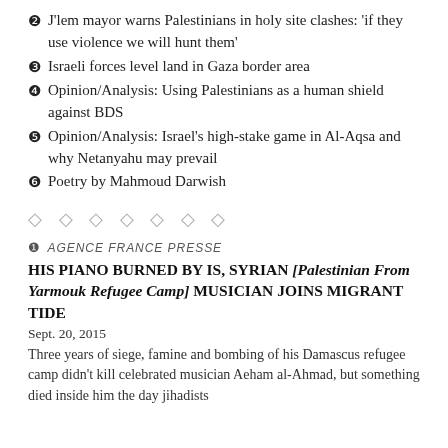❷ J'lem mayor warns Palestinians in holy site clashes: 'if they use violence we will hunt them'
❸ Israeli forces level land in Gaza border area
❹ Opinion/Analysis: Using Palestinians as a human shield against BDS
❺ Opinion/Analysis: Israel's high-stake game in Al-Aqsa and why Netanyahu may prevail
❻ Poetry by Mahmoud Darwish
◇ ◇ ◇ ◇ ◇ ◇ ◇
❶ AGENCE FRANCE PRESSE
HIS PIANO BURNED BY IS, SYRIAN [Palestinian From Yarmouk Refugee Camp] MUSICIAN JOINS MIGRANT TIDE
Sept. 20, 2015
Three years of siege, famine and bombing of his Damascus refugee camp didn't kill celebrated musician Aeham al-Ahmad, but something died inside him the day jihadists